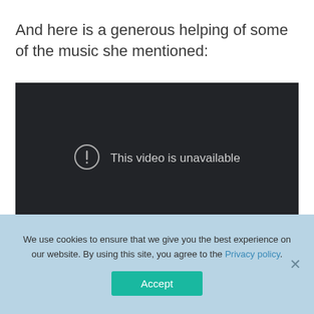And here is a generous helping of some of the music she mentioned:
[Figure (screenshot): Embedded video player showing a dark/black background with a circle-exclamation icon and the message 'This video is unavailable']
We use cookies to ensure that we give you the best experience on our website. By using this site, you agree to the Privacy policy.
Accept